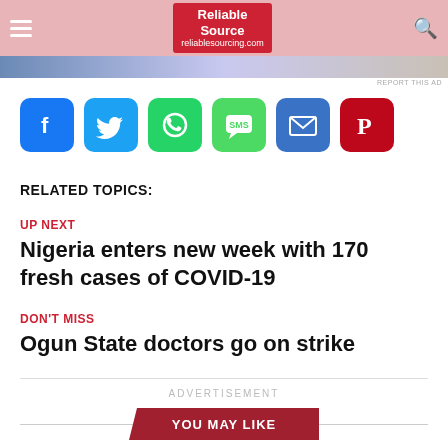Reliable Source reliablesourcing.com
[Figure (screenshot): Advertisement banner with gradient colors]
REPORT THIS AD
[Figure (infographic): Social media share buttons: Facebook, Twitter, WhatsApp, SMS, Email, Pinterest]
RELATED TOPICS:
UP NEXT
Nigeria enters new week with 170 fresh cases of COVID-19
DON'T MISS
Ogun State doctors go on strike
ADVERTISEMENT
YOU MAY LIKE